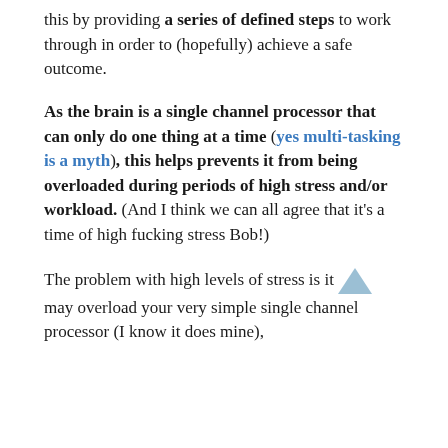this by providing a series of defined steps to work through in order to (hopefully) achieve a safe outcome.
As the brain is a single channel processor that can only do one thing at a time (yes multi-tasking is a myth), this helps prevents it from being overloaded during periods of high stress and/or workload. (And I think we can all agree that it's a time of high fucking stress Bob!)
The problem with high levels of stress is it may overload your very simple single channel processor (I know it does mine),